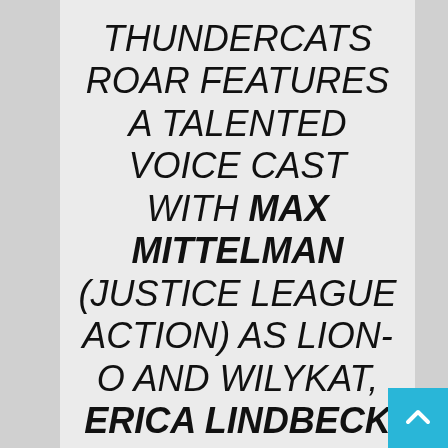THUNDERCATS ROAR FEATURES A TALENTED VOICE CAST WITH MAX MITTELMAN (JUSTICE LEAGUE ACTION) AS LION-O AND WILYKAT, ERICA LINDBECK (DC SUPER HERO GIRLS) AS CHEETARA AND WILYKIT, PATRICK SEITZ (JUSTICE LEAGUE ACTION) AS TYGRA AND MUMM-RA, AND CHRIS JAL...